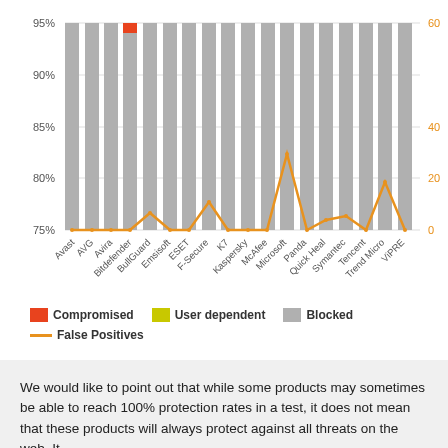[Figure (grouped-bar-chart): Antivirus protection rates and false positives]
Compromised   User dependent   Blocked
False Positives
We would like to point out that while some products may sometimes be able to reach 100% protection rates in a test, it does not mean that these products will always protect against all threats on the web. It